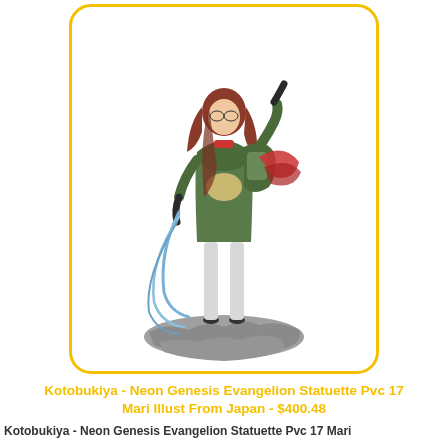[Figure (photo): A Kotobukiya Neon Genesis Evangelion PVC statuette of Mari, a female anime character with brown hair, wearing a green plugsuit, standing on a rocky base with blue cables/wires. The figure is displayed inside a rounded-rectangle card with a yellow/gold border.]
Kotobukiya - Neon Genesis Evangelion Statuette Pvc 17 Mari Illust From Japan - $400.48
Kotobukiya - Neon Genesis Evangelion Statuette Pvc 17 Mari